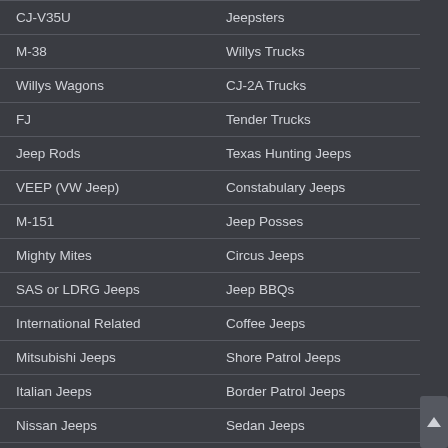| Column1 | Column2 |
| --- | --- |
| CJ-V35U | Jeepsters |
| M-38 | Willys Trucks |
| Willys Wagons | CJ-2A Trucks |
| FJ | Tender Trucks |
| Jeep Rods | Texas Hunting Jeeps |
| VEEP (VW Jeep) | Constabulary Jeeps |
| M-151 | Jeep Posses |
| Mighty Mites | Circus Jeeps |
| SAS or LDRG Jeeps | Jeep BBQs |
| International Related | Coffee Jeeps |
| Mitsubishi Jeeps | Shore Patrol Jeeps |
| Italian Jeeps | Border Patrol Jeeps |
| Nissan Jeeps | Sedan Jeeps |
| CJ-4/CJ-4A | Electric Jeeps |
| Follow Me Jeeps |  |
| ... |  |